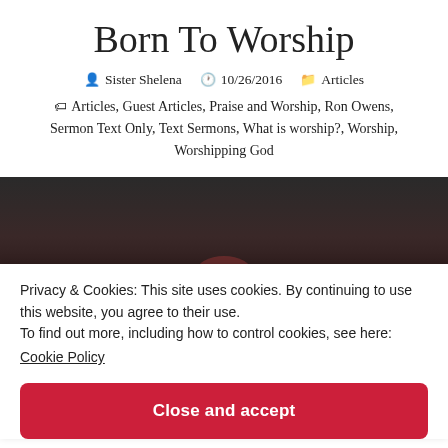Born To Worship
Sister Shelena  10/26/2016  Articles
Articles, Guest Articles, Praise and Worship, Ron Owens, Sermon Text Only, Text Sermons, What is worship?, Worship, Worshipping God
[Figure (photo): Dark background image, partially visible, showing a figure in red at the bottom]
Privacy & Cookies: This site uses cookies. By continuing to use this website, you agree to their use.
To find out more, including how to control cookies, see here:
Cookie Policy
Close and accept